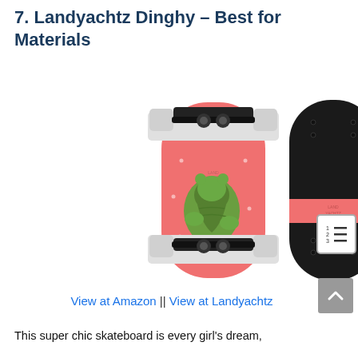7. Landyachtz Dinghy – Best for Materials
[Figure (photo): Two views of the Landyachtz Dinghy skateboard: front view showing a pink/coral deck with a green bear graphic and white/black trucks and wheels, and back view showing the black grip tape side with a pink brand label stripe in the middle.]
View at Amazon || View at Landyachtz
This super chic skateboard is every girl's dream,